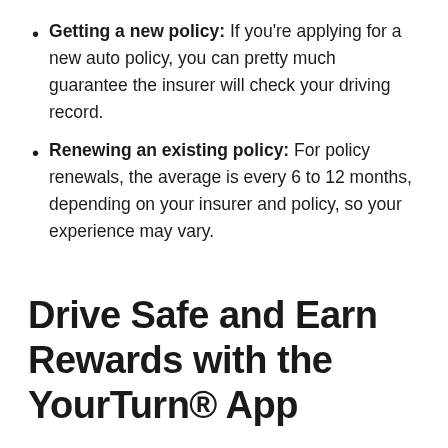Getting a new policy: If you're applying for a new auto policy, you can pretty much guarantee the insurer will check your driving record.
Renewing an existing policy: For policy renewals, the average is every 6 to 12 months, depending on your insurer and policy, so your experience may vary.
Drive Safe and Earn Rewards with the YourTurn® App
Unsafe driving behaviors impact more than just your